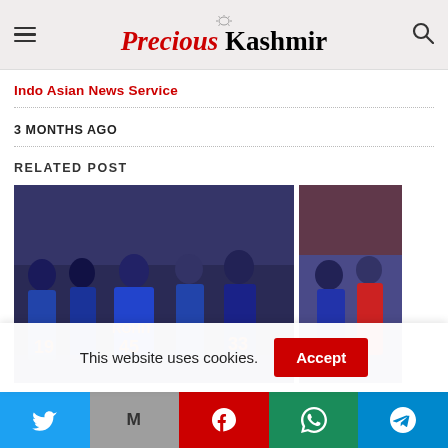Precious Kashmir
Indo Asian News Service
3 MONTHS AGO
RELATED POST
[Figure (photo): Indian cricket team players in blue and orange jerseys celebrating on the field, showing jersey numbers 19, 45 (ROHIT), 33]
[Figure (photo): Partial view of cricket players in blue and red jerseys]
This website uses cookies.
Twitter | Gmail | Pinterest | WhatsApp | Telegram